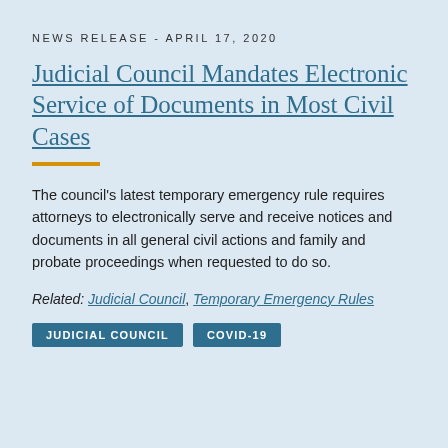NEWS RELEASE - APRIL 17, 2020
Judicial Council Mandates Electronic Service of Documents in Most Civil Cases
The council's latest temporary emergency rule requires attorneys to electronically serve and receive notices and documents in all general civil actions and family and probate proceedings when requested to do so.
Related: Judicial Council, Temporary Emergency Rules
JUDICIAL COUNCIL   COVID-19